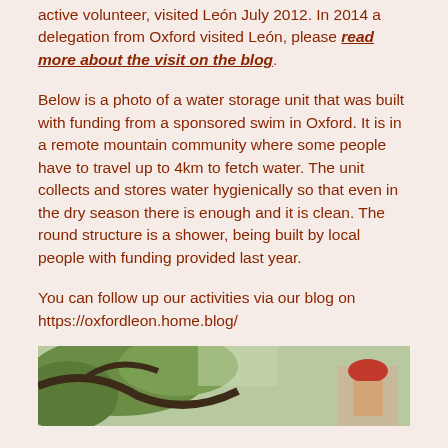active volunteer, visited León July 2012. In 2014 a delegation from Oxford visited León, please read more about the visit on the blog.
Below is a photo of a water storage unit that was built with funding from a sponsored swim in Oxford. It is in a remote mountain community where some people have to travel up to 4km to fetch water. The unit collects and stores water hygienically so that even in the dry season there is enough and it is clean. The round structure is a shower, being built by local people with funding provided last year.
You can follow up our activities via our blog on https://oxfordleon.home.blog/
[Figure (photo): Photo of people outdoors, appears to show local community members near trees and vegetation.]